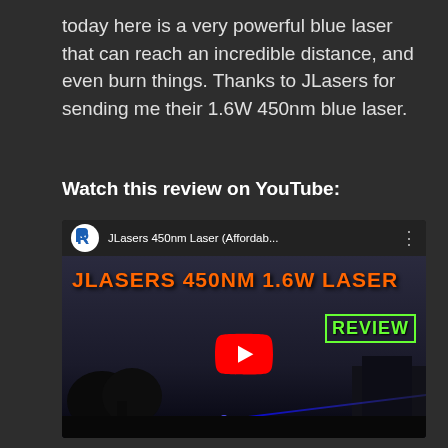today here is a very powerful blue laser that can reach an incredible distance, and even burn things. Thanks to JLasers for sending me their 1.6W 450nm blue laser.
Watch this review on YouTube:
[Figure (screenshot): YouTube video thumbnail for 'JLasers 450nm Laser (Affordab...' showing text 'JLASERS 450NM 1.6W LASER' in orange and 'REVIEW' in green, with a night scene showing a blue laser beam, and a YouTube play button overlay.]